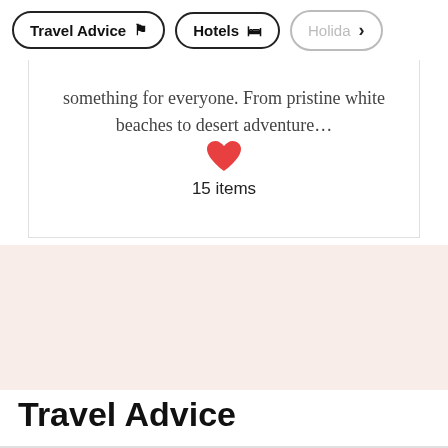Travel Advice | Hotels | Holiday
something for everyone. From pristine white beaches to desert adventure…
[Figure (illustration): Red heart icon with '15 items' label below]
Travel Advice